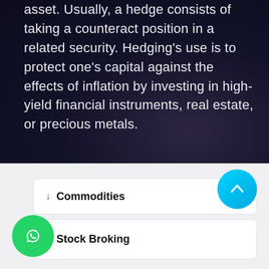asset. Usually, a hedge consists of taking a counteract position in a related security. Hedging's use is to protect one's capital against the effects of inflation by investing in high-yield financial instruments, real estate, or precious metals.
↓ Commodities
↓ Stock Broking